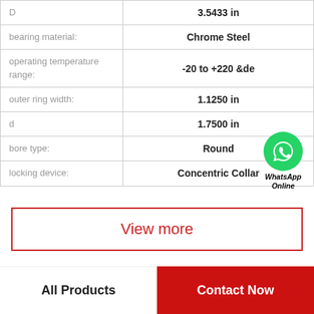| Property | Value |
| --- | --- |
| D | 3.5433 in |
| bearing material: | Chrome Steel |
| operating temperature range: | -20 to +220 &de |
| outer ring width: | 1.1250 in |
| d | 1.7500 in |
| bore type: | Round |
| locking device: | Concentric Collar |
[Figure (logo): WhatsApp Online green circle icon with phone handset, with text 'WhatsApp Online' below in bold italic]
View more
All Products
Contact Now